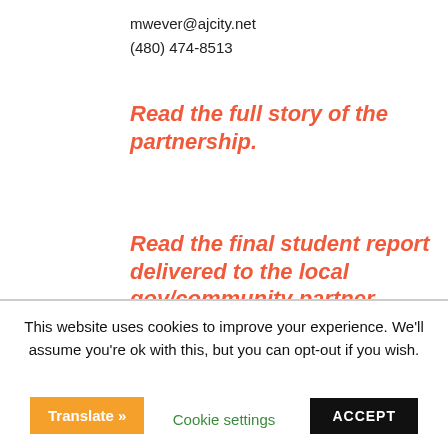mwever@ajcity.net
(480) 474-8513
Read the full story of the partnership.
Read the final student report delivered to the local gov/community partner.
This website uses cookies to improve your experience. We'll assume you're ok with this, but you can opt-out if you wish.
Cookie settings
ACCEPT
Translate »